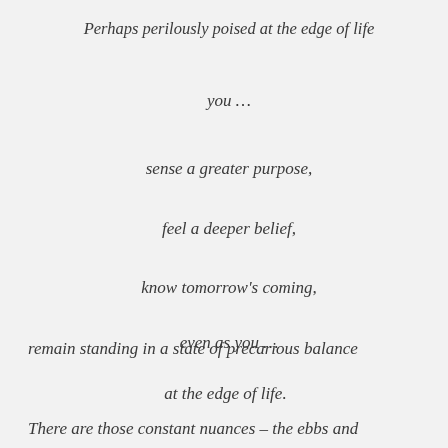Perhaps perilously poised at the edge of life
you …
sense a greater purpose,
feel a deeper belief,
know tomorrow's coming,
even as you …
remain standing in a state of precarious balance
at the edge of life.
There are those constant nuances – the ebbs and